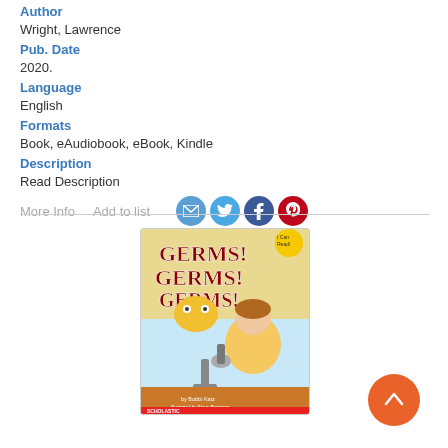Author
Wright, Lawrence
Pub. Date
2020.
Language
English
Formats
Book, eAudiobook, eBook, Kindle
Description
Read Description
More Info   Add to list
[Figure (illustration): Book cover of 'Germs! Germs! Germs!' by Bobbi Katz, illustrated by Steve Bjorkman, published by Scholastic. Shows a girl at a microscope with cartoon germ characters.]